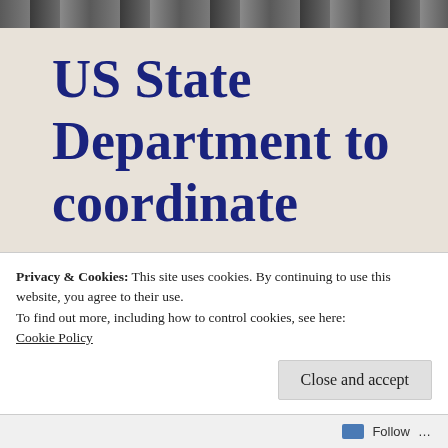[Figure (photo): Grayscale photo strip at the top of the page showing partial figures]
US State Department to coordinate measures against
Privacy & Cookies: This site uses cookies. By continuing to use this website, you agree to their use.
To find out more, including how to control cookies, see here:
Cookie Policy
Close and accept
Follow ...